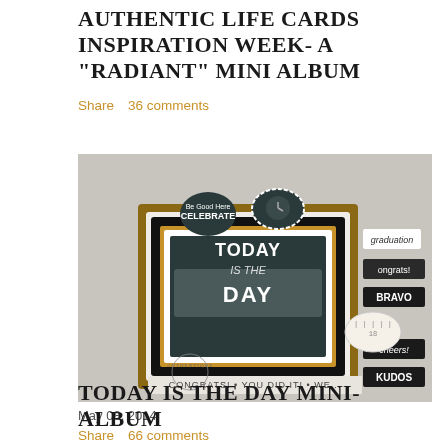AUTHENTIC LIFE CARDS INSPIRATION WEEK- A "RADIANT" MINI ALBUM
Share    36 comments
[Figure (photo): Photo of a handmade mini scrapbook album with chalkboard-style 'TODAY IS THE DAY' text, graduation theme, decorated with 'CELEBRATE', 'graduation', 'Congrats!', 'BRAVO', 'cheers!', 'KUDOS' labels, and a ribbon measuring tape. Authentique brand logo visible.]
May 08, 2014
TODAY IS THE DAY MINI-ALBUM
Share    66 comments